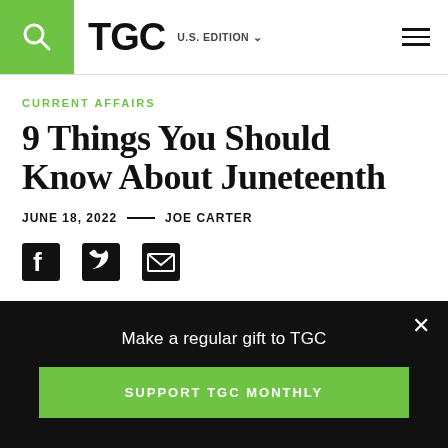TGC U.S. EDITION
CURRENT AFFAIRS
9 Things You Should Know About Juneteenth
JUNE 18, 2022 — JOE CARTER
[Figure (other): Social share icons: Facebook, Twitter, Email]
Make a regular gift to TGC
SUPPORT TGC MONTHLY